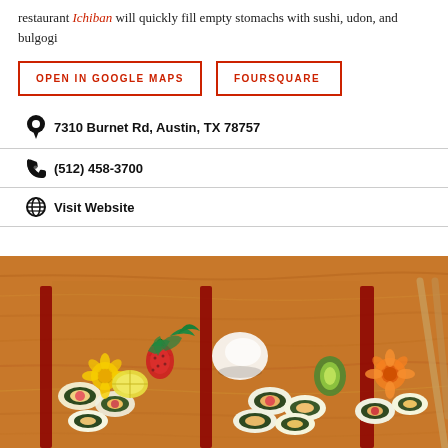restaurant Ichiban will quickly fill empty stomachs with sushi, udon, and bulgogi
OPEN IN GOOGLE MAPS
FOURSQUARE
7310 Burnet Rd, Austin, TX 78757
(512) 458-3700
Visit Website
[Figure (photo): Photo of sushi platter with assorted rolls, garnished with a yellow flower, strawberries, and orange garnish on a wooden surface with red lacquered tray dividers]